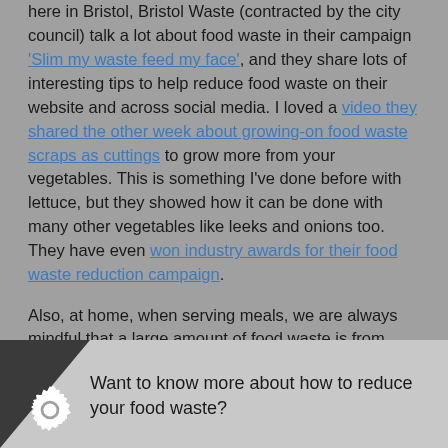here in Bristol, Bristol Waste (contracted by the city council) talk a lot about food waste in their campaign 'Slim my waste feed my face', and they share lots of interesting tips to help reduce food waste on their website and across social media. I loved a video they shared the other week about growing-on food waste scraps as cuttings to grow more from your vegetables. This is something I've done before with lettuce, but they showed how it can be done with many other vegetables like leeks and onions too. They have even won industry awards for their food waste reduction campaign.
Also, at home, when serving meals, we are always mindful that a large amount of food waste is from people's plates, and so we only serve what we think we are likely to eat. After meals any of our food leftovers get covered in waxed wraps, and then put into the fridge to reuse for future meals or snacks. We can all do our bit just by following some of these simple tips.
Want to know more about how to reduce your food waste?